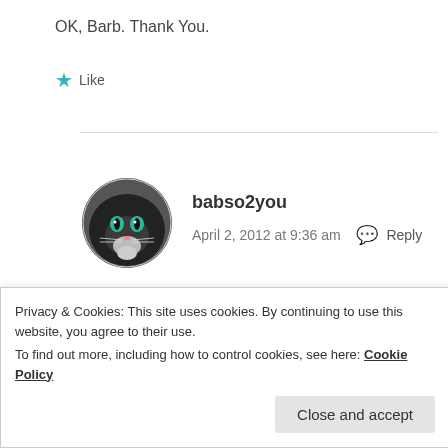OK, Barb. Thank You.
★ Like
[Figure (photo): Round avatar photo of a black cat with green eyes]
babso2you
April 2, 2012 at 9:36 am  💬 Reply
🙂
★ Like
Privacy & Cookies: This site uses cookies. By continuing to use this website, you agree to their use.
To find out more, including how to control cookies, see here: Cookie Policy
Close and accept